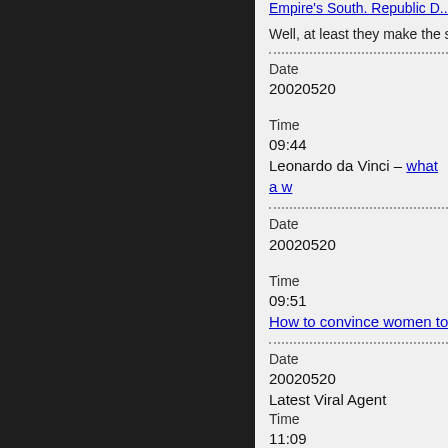Empire's South. Republic D...
Well, at least they make the s
Date
20020520
Time
09:44
Leonardo da Vinci – what a w
Date
20020520
Time
09:51
How to convince women to ta
Date
20020520
Latest Viral Agent
Time
11:09
I'm happy to plug this fabulou